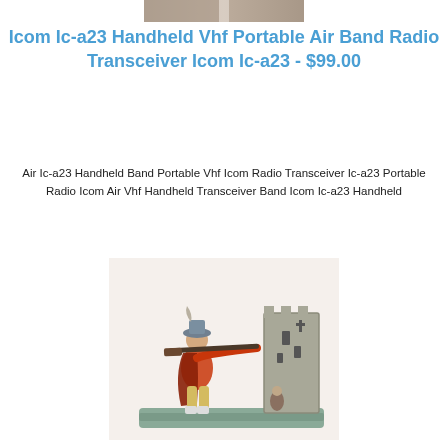[Figure (photo): Partial cropped image visible at top of page, appears to show a product or figurine photo cropped at top edge]
Icom Ic-a23 Handheld Vhf Portable Air Band Radio Transceiver Icom Ic-a23 - $99.00
Air Ic-a23 Handheld Band Portable Vhf Icom Radio Transceiver Ic-a23 Portable Radio Icom Air Vhf Handheld Transceiver Band Icom Ic-a23 Handheld
[Figure (photo): Cast iron or metal figurine of a musketeer/soldier aiming a long rifle at a castle tower, displayed on a base. Antique collectible mechanical bank or toy.]